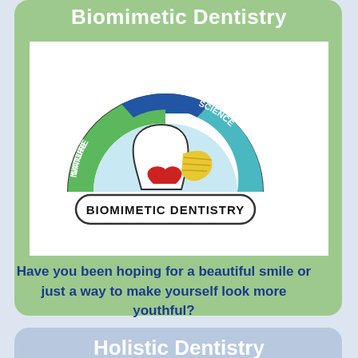Biomimetic Dentistry
[Figure (logo): Biomimetic Dentistry logo with semicircular arch in green (NATURE), blue (ART), and teal (SCIENCE) sections, containing a stylized tooth with red and gold elements, and 'BIOMIMETIC DENTISTRY' text in bold black below]
Have you been hoping for a beautiful smile or just a way to make yourself look more youthful?
Holistic Dentistry